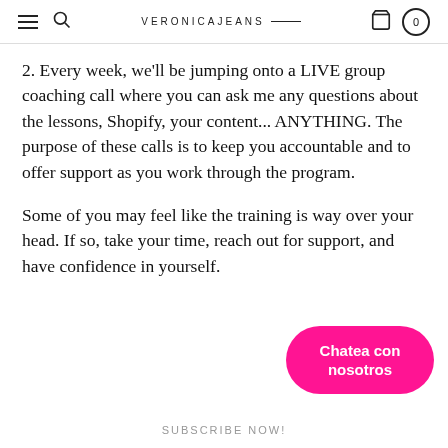VERONICAJEANS
2. Every week, we'll be jumping onto a LIVE group coaching call where you can ask me any questions about the lessons, Shopify, your content... ANYTHING. The purpose of these calls is to keep you accountable and to offer support as you work through the program.
Some of you may feel like the training is way over your head. If so, take your time, reach out for support, and have confidence in yourself.
[Figure (other): Pink chat button with text 'Chatea con nosotros']
SUBSCRIBE NOW!